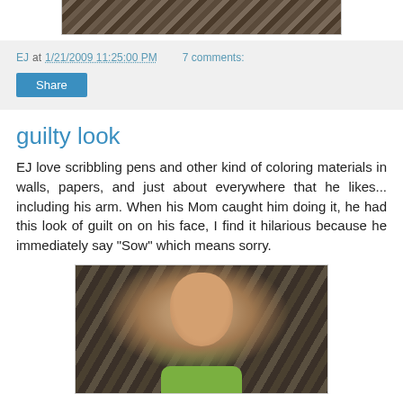[Figure (photo): Top partial photo showing floral patterned fabric background in dark tones]
EJ at 1/21/2009 11:25:00 PM   7 comments:
Share
guilty look
EJ love scribbling pens and other kind of coloring materials in walls, papers, and just about everywhere that he likes... including his arm. When his Mom caught him doing it, he had this look of guilt on on his face, I find it hilarious because he immediately say "Sow" which means sorry.
[Figure (photo): Photo of a young toddler boy with short dark hair, wearing a green shirt, sitting against a floral patterned fabric background, giving a guilty look at the camera]